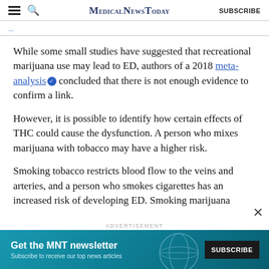MedicalNewsToday SUBSCRIBE
While some small studies have suggested that recreational marijuana use may lead to ED, authors of a 2018 meta-analysis concluded that there is not enough evidence to confirm a link.
However, it is possible to identify how certain effects of THC could cause the dysfunction. A person who mixes marijuana with tobacco may have a higher risk.
Smoking tobacco restricts blood flow to the veins and arteries, and a person who smokes cigarettes has an increased risk of developing ED. Smoking marijuana
[Figure (infographic): Advertisement banner for MNT newsletter: 'Get the MNT newsletter - Subscribe to receive our top news articles' with a SUBSCRIBE button and globe graphic on teal background.]